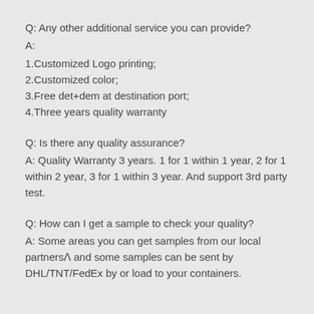Q: Any other additional service you can provide?
A:
1.Customized Logo printing;
2.Customized color;
3.Free det+dem at destination port;
4.Three years quality warranty
Q: Is there any quality assurance?
A: Quality Warranty 3 years. 1 for 1 within 1 year, 2 for 1 within 2 year, 3 for 1 within 3 year. And support 3rd party test.
Q: How can I get a sample to check your quality?
A: Some areas you can get samples from our local partnersⓨ and some samples can be sent by DHL/TNT/FedEx by or load to your containers.